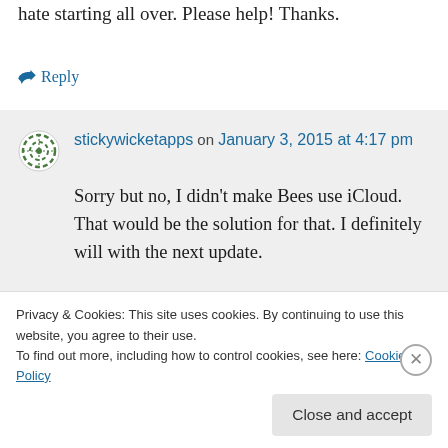hate starting all over. Please help! Thanks.
↪ Reply
stickywicketapps on January 3, 2015 at 4:17 pm
Sorry but no, I didn't make Bees use iCloud. That would be the solution for that. I definitely will with the next update.
Privacy & Cookies: This site uses cookies. By continuing to use this website, you agree to their use.
To find out more, including how to control cookies, see here: Cookie Policy
Close and accept